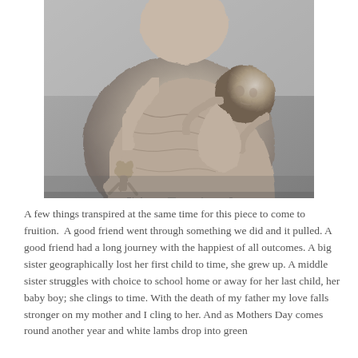[Figure (photo): Black and white photograph of a clay sculpture depicting a figure holding a child who clings to them, the child holds a small stuffed animal or toy]
A few things transpired at the same time for this piece to come to fruition.  A good friend went through something we did and it pulled. A good friend had a long journey with the happiest of all outcomes. A big sister geographically lost her first child to time, she grew up. A middle sister struggles with choice to school home or away for her last child, her baby boy; she clings to time. With the death of my father my love falls stronger on my mother and I cling to her. And as Mothers Day comes round another year and white lambs drop into green